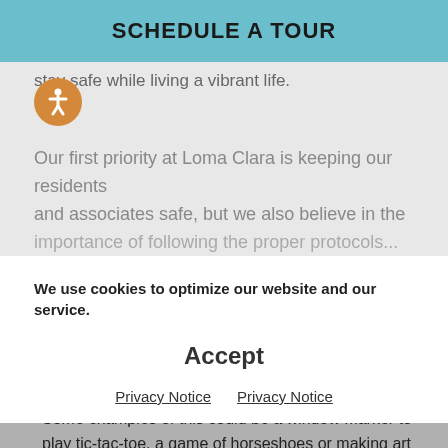SCHEDULE A TOUR
stay safe while living a vibrant life.
Our first priority at Loma Clara is keeping our residents and associates safe, but we also believe in the importance of following the proper protocols...
We use cookies to optimize our website and our service.
Accept
Privacy Notice   Privacy Notice
show that transmission of COVID-19 may be less likely to occur outdoors than indoors.
2. Bring along activities that can be done while social distancing, or while on different sides of a window. Some examples of this could be a window marker to play tic-tac-toe, a game of horseshoes or making art